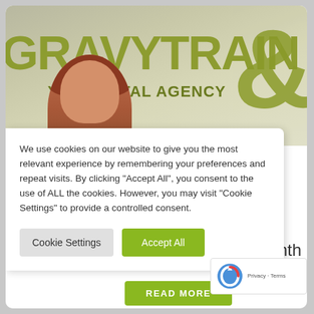[Figure (photo): Photo of GravyTrain digital agency office wall with brand logo and person visible in foreground]
We use cookies on our website to give you the most relevant experience by remembering your preferences and repeat visits. By clicking “Accept All”, you consent to the use of ALL the cookies. However, you may visit “Cookie Settings” to provide a controlled consent.
Cookie Settings   Accept All
irst Month
READ MORE
[Figure (logo): reCAPTCHA logo with Privacy - Terms text]